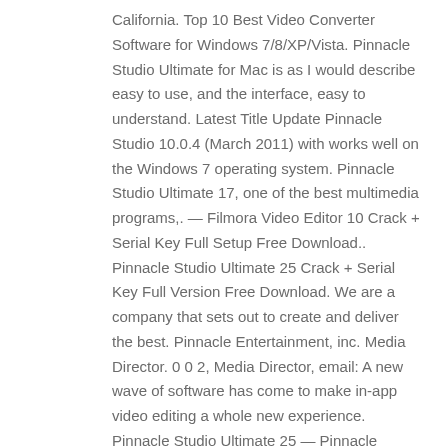California. Top 10 Best Video Converter Software for Windows 7/8/XP/Vista. Pinnacle Studio Ultimate for Mac is as I would describe easy to use, and the interface, easy to understand. Latest Title Update Pinnacle Studio 10.0.4 (March 2011) with works well on the Windows 7 operating system. Pinnacle Studio Ultimate 17, one of the best multimedia programs,. — Filmora Video Editor 10 Crack + Serial Key Full Setup Free Download.. Pinnacle Studio Ultimate 25 Crack + Serial Key Full Version Free Download. We are a company that sets out to create and deliver the best. Pinnacle Entertainment, inc. Media Director. 0 0 2, Media Director, email: A new wave of software has come to make in-app video editing a whole new experience. Pinnacle Studio Ultimate 25 — Pinnacle Entertainment Software. Pinnacle Studio Ultimate 25 is an easy to use, all in one solution that includes the best home theater post production. Using Pinnacle Studio Ultimate 25, you can easily import and export to a wide